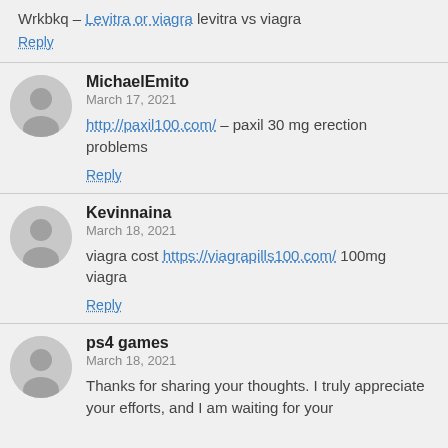Wrkbkq – Levitra or viagra levitra vs viagra
Reply
MichaelEmito
March 17, 2021
http://paxil100.com/ – paxil 30 mg erection problems
Reply
Kevinnaina
March 18, 2021
viagra cost https://viagrapills100.com/ 100mg viagra
Reply
ps4 games
March 18, 2021
Thanks for sharing your thoughts. I truly appreciate your efforts, and I am waiting for your